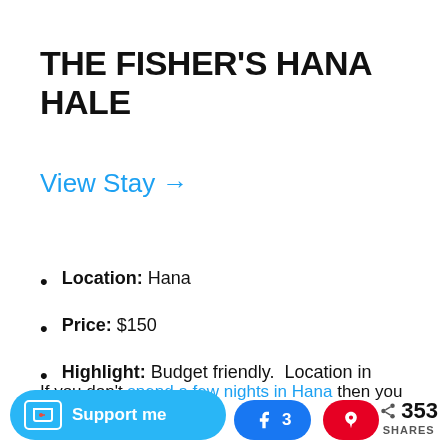THE FISHER'S HANA HALE
View Stay →
Location: Hana
Price: $150
Highlight: Budget friendly.  Location in Hana town.
If you don't spend a few nights in Hana then you
Support me  |  3  |  353 SHARES